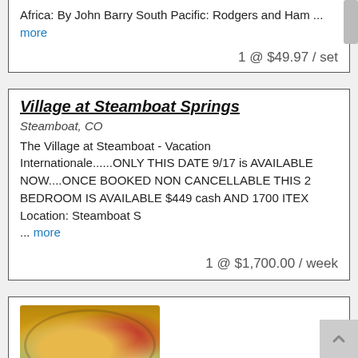Africa: By John Barry South Pacific: Rodgers and Ham ... more
1 @ $49.97 / set
Village at Steamboat Springs
Steamboat, CO
The Village at Steamboat - Vacation Internationale......ONLY THIS DATE 9/17 is AVAILABLE NOW....ONCE BOOKED NON CANCELLABLE THIS 2 BEDROOM IS AVAILABLE $449 cash AND 1700 ITEX Location: Steamboat S ... more
1 @ $1,700.00 / week
[Figure (photo): Photo of a food dish in a bowl, appearing to show a curry or stew with green garnishes and red peppers on a plate]